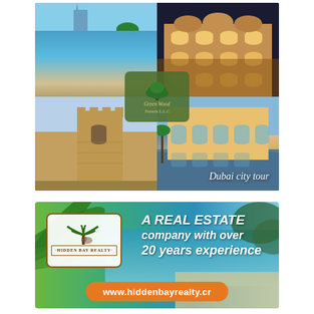[Figure (photo): Dubai city tour collage: four photos arranged in a 2x2 grid showing the Burj Al Arab area beach/pool, ornate Arabic architecture at night, a sand fort/tower, and a modern building reflected in water. GreenWood Travels L.L.C. logo overlaid in center. 'Dubai city tour' text in bottom right.]
[Figure (photo): Hidden Bay Realty advertisement banner with tropical beach background, palm leaves on left, company logo in white box on left, text 'A REAL ESTATE company with over 20 years experience' on right, orange pill-shaped URL bar at bottom reading 'www.hiddenbayrealty.cr']